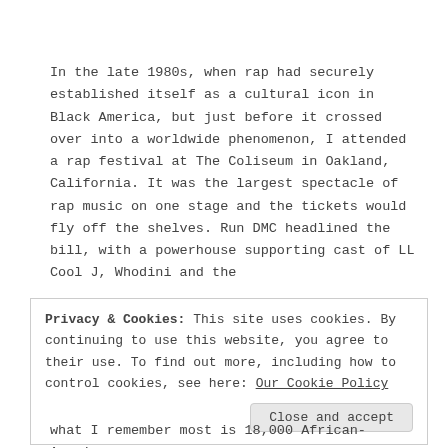In the late 1980s, when rap had securely established itself as a cultural icon in Black America, but just before it crossed over into a worldwide phenomenon, I attended a rap festival at The Coliseum in Oakland, California. It was the largest spectacle of rap music on one stage and the tickets would fly off the shelves. Run DMC headlined the bill, with a powerhouse supporting cast of LL Cool J, Whodini and the
Privacy & Cookies: This site uses cookies. By continuing to use this website, you agree to their use. To find out more, including how to control cookies, see here: Our Cookie Policy
what I remember most is 18,000 African-American